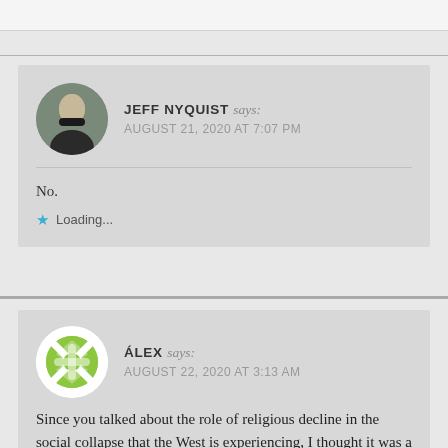JEFF NYQUIST says: AUGUST 21, 2020 AT 7:07 PM
No.
Loading...
ÁLEX says: AUGUST 22, 2020 AT 3:13 AM
Since you talked about the role of religious decline in the social collapse that the West is experiencing, I thought it was a good opportunity to suggest this